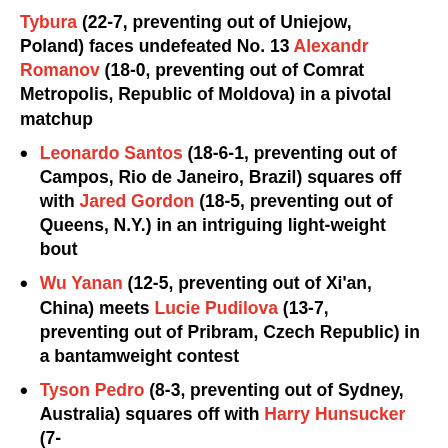Tybura (22-7, preventing out of Uniejow, Poland) faces undefeated No. 13 Alexandr Romanov (18-0, preventing out of Comrat Metropolis, Republic of Moldova) in a pivotal matchup
Leonardo Santos (18-6-1, preventing out of Campos, Rio de Janeiro, Brazil) squares off with Jared Gordon (18-5, preventing out of Queens, N.Y.) in an intriguing light-weight bout
Wu Yanan (12-5, preventing out of Xi'an, China) meets Lucie Pudilova (13-7, preventing out of Pribram, Czech Republic) in a bantamweight contest
Tyson Pedro (8-3, preventing out of Sydney, Australia) squares off with Harry Hunsucker (7-5, preventing out of Richmond, Kan.) at a light...